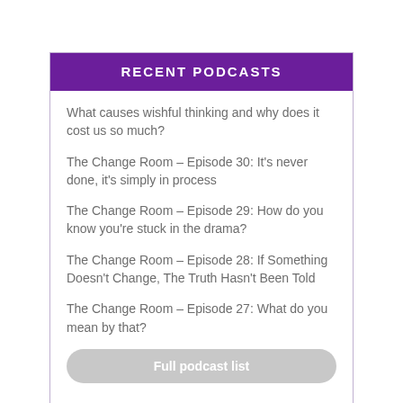RECENT PODCASTS
What causes wishful thinking and why does it cost us so much?
The Change Room – Episode 30: It's never done, it's simply in process
The Change Room – Episode 29: How do you know you're stuck in the drama?
The Change Room – Episode 28: If Something Doesn't Change, The Truth Hasn't Been Told
The Change Room – Episode 27: What do you mean by that?
Full podcast list